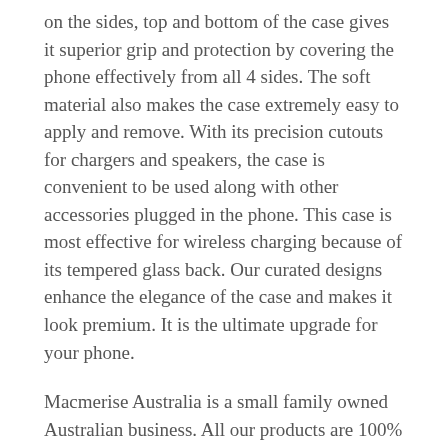on the sides, top and bottom of the case gives it superior grip and protection by covering the phone effectively from all 4 sides. The soft material also makes the case extremely easy to apply and remove. With its precision cutouts for chargers and speakers, the case is convenient to be used along with other accessories plugged in the phone. This case is most effective for wireless charging because of its tempered glass back. Our curated designs enhance the elegance of the case and makes it look premium. It is the ultimate upgrade for your phone.
Macmerise Australia is a small family owned Australian business. All our products are 100% genuine with copyrights from Marvel , Disney and other respective copyright holders. The products are direct imports from markets where this copyright is held in order to give Aussie customers access to the widest range at the cheapest prices. We despatch our goods locally from Australia via Australia Post. All our goods are subject to Australian